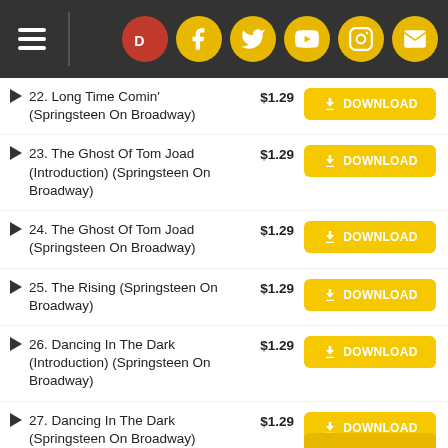Discogs navigation header with social icons
22. Long Time Comin' (Springsteen On Broadway) $1.29 DOWNLOAD
23. The Ghost Of Tom Joad (Introduction) (Springsteen On Broadway) $1.29 DOWNLOAD
24. The Ghost Of Tom Joad (Springsteen On Broadway) $1.29 DOWNLOAD
25. The Rising (Springsteen On Broadway) $1.29 DOWNLOAD
26. Dancing In The Dark (Introduction) (Springsteen On Broadway) $1.29 DOWNLOAD
27. Dancing In The Dark (Springsteen On Broadway) $1.29 DOWNLOAD
28. Land Of Hope And Dreams (Springsteen On Broadway) $1.29 DOWNLOAD